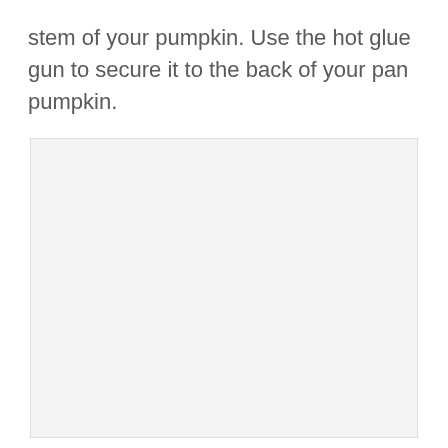stem of your pumpkin. Use the hot glue gun to secure it to the back of your pan pumpkin.
[Figure (photo): A large light gray rectangular placeholder image area occupying the lower two-thirds of the page.]